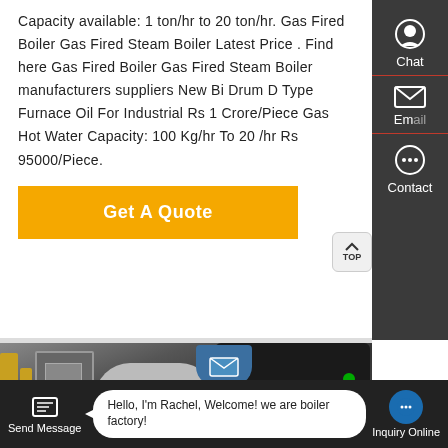Capacity available: 1 ton/hr to 20 ton/hr. Gas Fired Boiler Gas Fired Steam Boiler Latest Price . Find here Gas Fired Boiler Gas Fired Steam Boiler manufacturers suppliers New Bi Drum D Type Furnace Oil For Industrial Rs 1 Crore/Piece Gas Hot Water Capacity: 100 Kg/hr To 20 /hr Rs 95000/Piece.
Get A Quote
[Figure (photo): Industrial gas fired steam boiler equipment in a factory setting, showing pipes, control panels, cylindrical boiler bodies, and dark casing.]
Hello, I'm Rachel, Welcome! we are boiler factory!
Send Message
Inquiry Online